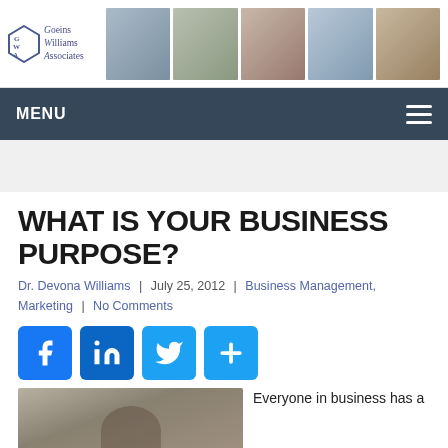Goeins Williams Associates — site header with logo and photo banner
MENU
WHAT IS YOUR BUSINESS PURPOSE?
Dr. Devona Williams | July 25, 2012 | Business Management, Marketing | No Comments
[Figure (infographic): Social share buttons: Facebook, LinkedIn, Twitter, Share (+)]
[Figure (photo): Person sitting at desk, partial view from below chin]
Everyone in business has a